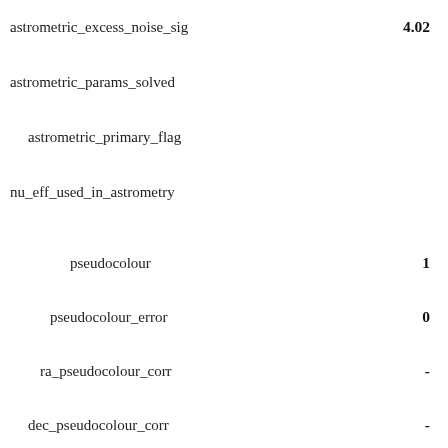astrometric_excess_noise_sig    4.02
astrometric_params_solved
astrometric_primary_flag
nu_eff_used_in_astrometry
pseudocolour    1
pseudocolour_error    0
ra_pseudocolour_corr    -
dec_pseudocolour_corr    -